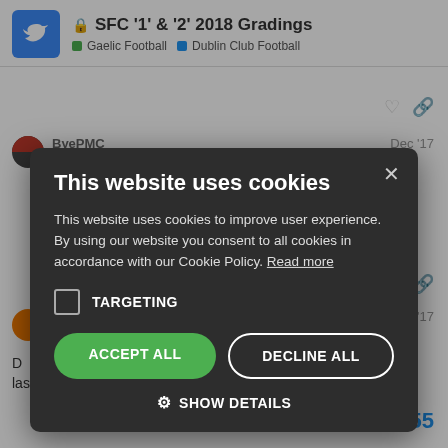SFC '1' & '2' 2018 Gradings — Gaelic Football | Dublin Club Football
first round (got a b... W... CD) of 5...how w...
ByePMC — Dec '17
last night specifically the changes to the le
[Figure (screenshot): Cookie consent modal dialog on a dark overlay. Title: 'This website uses cookies'. Body text: 'This website uses cookies to improve user experience. By using our website you consent to all cookies in accordance with our Cookie Policy. Read more'. Checkbox for TARGETING. Buttons: ACCEPT ALL (green), DECLINE ALL (outlined). SHOW DETAILS link with gear icon.]
10 / 355